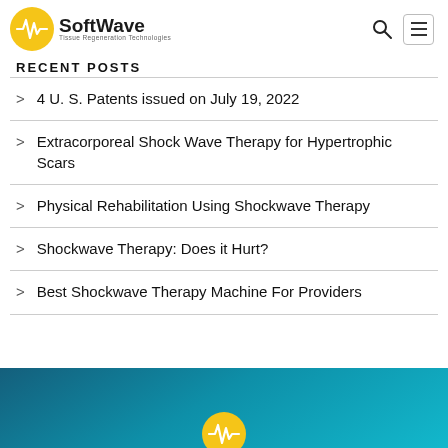SoftWave Tissue Regeneration Technologies
RECENT POSTS
4 U. S. Patents issued on July 19, 2022
Extracorporeal Shock Wave Therapy for Hypertrophic Scars
Physical Rehabilitation Using Shockwave Therapy
Shockwave Therapy: Does it Hurt?
Best Shockwave Therapy Machine For Providers